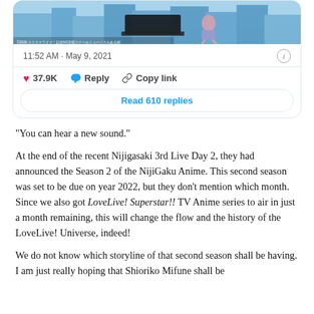[Figure (screenshot): Tweet card showing an anime image with a piano and a cityscape background, timestamped 11:52 AM · May 9, 2021, with 37.9K likes, Reply, Copy link buttons, and a Read 610 replies button.]
“You can hear a new sound.”
At the end of the recent Nijigasaki 3rd Live Day 2, they had announced the Season 2 of the NijiGaku Anime. This second season was set to be due on year 2022, but they don’t mention which month. Since we also got LoveLive! Superstar!! TV Anime series to air in just a month remaining, this will change the flow and the history of the LoveLive! Universe, indeed!
We do not know which storyline of that second season shall be having. I am just really hoping that Shioriko Mifune shall be